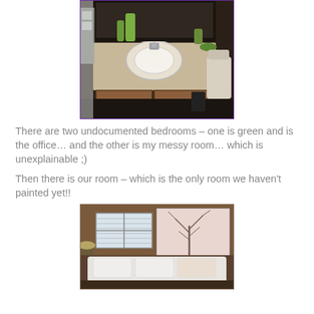[Figure (photo): Bathroom vanity with sink, wooden cabinets below, mirror above, green decorative items, toilet partially visible on the right.]
There are two undocumented bedrooms – one is green and is the office… and the other is my messy room… which is unexplainable ;)
Then there is our room – which is the only room we haven't painted yet!!
[Figure (photo): Bedroom with brown/tan walls, a bed with white pillows, a decorative headboard with tree branch artwork, and a window with blinds.]